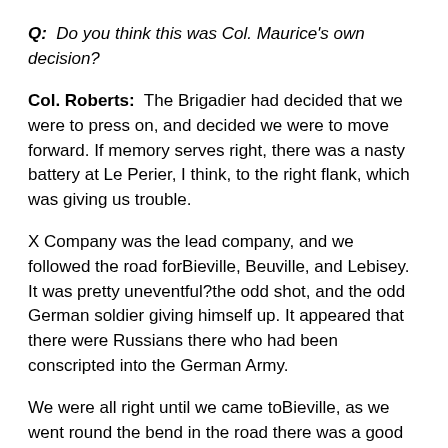Q:  Do you think this was Col. Maurice's own decision?
Col. Roberts:  The Brigadier had decided that we were to press on, and decided we were to move forward. If memory serves right, there was a nasty battery at Le Perier, I think, to the right flank, which was giving us trouble.
X Company was the lead company, and we followed the road forBieville, Beuville, and Lebisey. It was pretty uneventful—the odd shot, and the odd German soldier giving himself up. It appeared that there were Russians there who had been conscripted into the German Army.
We were all right until we came toBieville, as we went round the bend in the road there was a good deal of opposition from what we assumed was the church spire. The odd snipers had been left around, and while we were waiting for this there was one little man in X Co. by the name of Owen, and I